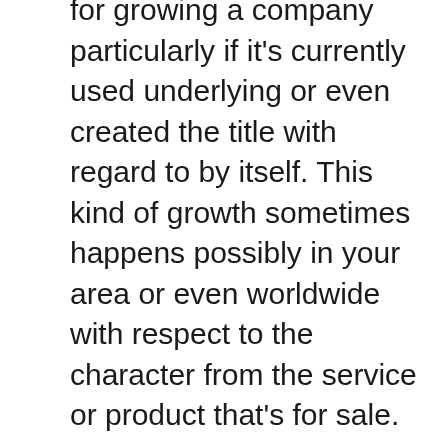for growing a company particularly if it's currently used underlying or even created the title with regard to by itself. This kind of growth sometimes happens possibly in your area or even worldwide with respect to the character from the service or product that's for sale.
Often although, exactly what might seem to be a good group of procedures as well as methods as the organization continues to be little starts to possess splits in some places since the organization develops.
Together with every brand new business, arrive the actual birthing discomfort which generally place the business's personalisation in danger. This particular